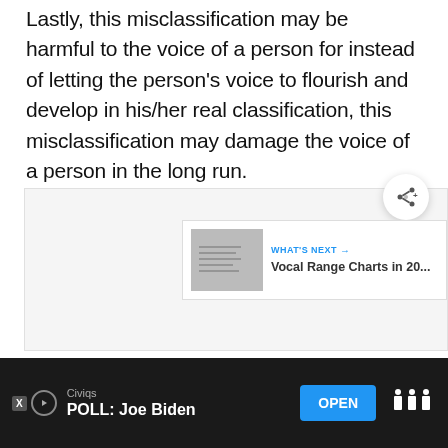Lastly, this misclassification may be harmful to the voice of a person for instead of letting the person's voice to flourish and develop in his/her real classification, this misclassification may damage the voice of a person in the long run.
[Figure (other): White/gray content placeholder box with a share button (circle with share icon) and a 'WHAT'S NEXT' card showing 'Vocal Range Charts in 20...']
[Figure (other): Advertisement bar at bottom: Civiqs brand, 'POLL: Joe Biden' text, OPEN button in blue, and a logo on the right side. Dark background.]